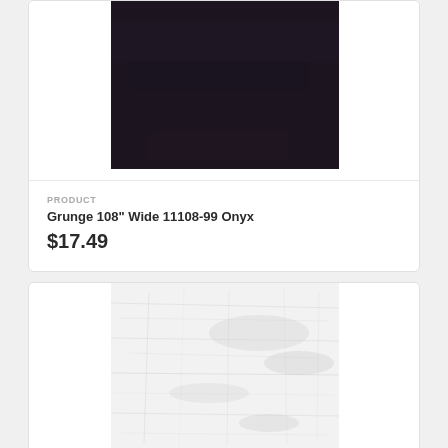[Figure (photo): Dark near-black fabric swatch for Grunge 108" Wide 11108-99 Onyx product]
PRODUCT
Grunge 108" Wide 11108-99 Onyx
$17.49
[Figure (photo): Light white/grey distressed grunge fabric swatch for a second product]